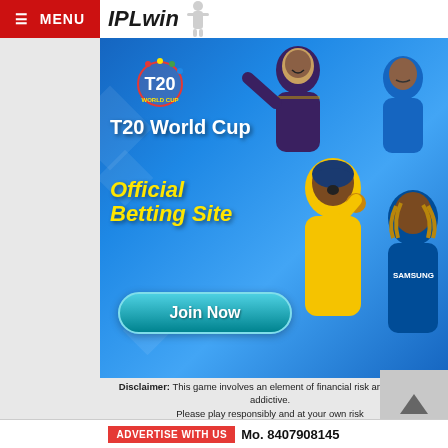≡ MENU  IPLwin
[Figure (photo): IPLwin T20 World Cup Official Betting Site advertisement banner featuring cricket players in action. Blue background with T20 World Cup logo, white text 'T20 World Cup', yellow italic text 'Official Betting Site', and a teal 'Join Now' button. Multiple cricket players visible.]
Disclaimer: This game involves an element of financial risk and may be addictive. Please play responsibly and at your own risk
ADVERTISE WITH US  Mo. 8407908145